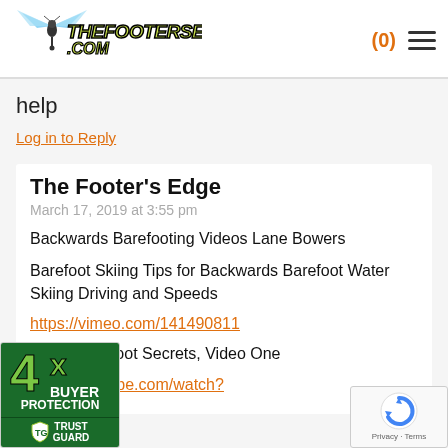thefootersedge.com
help
Log in to Reply
The Footer's Edge
March 17, 2019 at 3:55 pm
Backwards Barefooting Videos Lane Bowers
Barefoot Skiing Tips for Backwards Barefoot Water Skiing Driving and Speeds
https://vimeo.com/141490811
wards Barefoot Secrets, Video One
//www.youtube.com/watch?